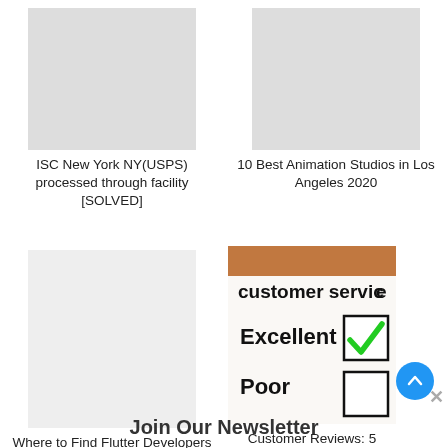ISC New York NY(USPS) processed through facility [SOLVED]
10 Best Animation Studios in Los Angeles 2020
[Figure (photo): Customer service checklist with Excellent checked in green and Poor unchecked]
Where to Find Flutter Developers for Hire
Customer Reviews: 5 Strategies for Getting Good Reviews
Join Our Newsletter